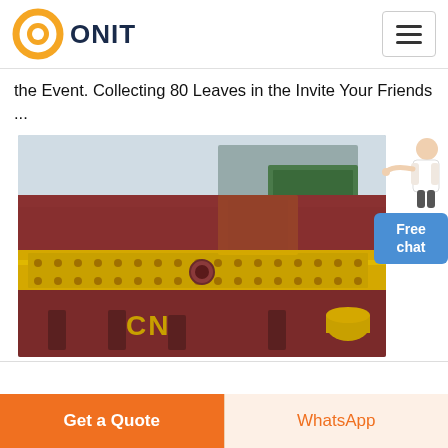ONIT
the Event. Collecting 80 Leaves in the Invite Your Friends ...
[Figure (photo): Industrial vibrating screen / mining equipment with red and yellow steel frame, labeled CN, parked in an outdoor factory yard.]
Free chat
Get a Quote
WhatsApp